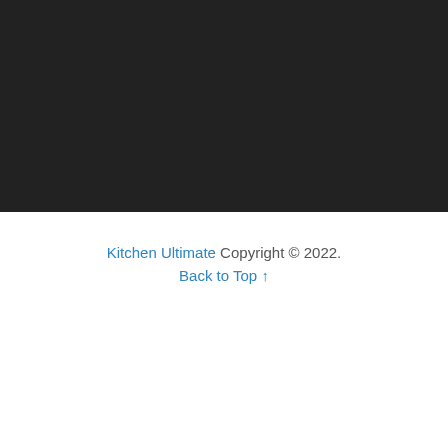[Figure (other): Dark/black background block occupying the top half of the page]
Kitchen Ultimate Copyright © 2022. Back to Top ↑